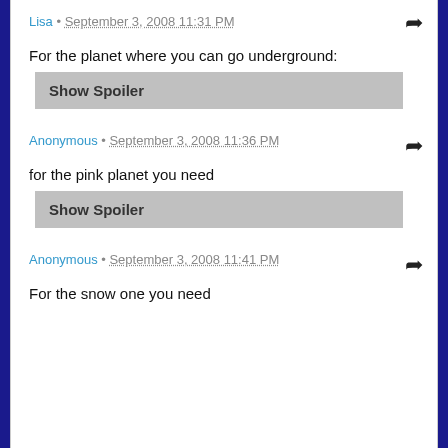Lisa • September 3, 2008 11:31 PM
For the planet where you can go underground:
[Figure (other): Show Spoiler button (grey)]
Anonymous • September 3, 2008 11:36 PM
for the pink planet you need
[Figure (other): Show Spoiler button (grey)]
Anonymous • September 3, 2008 11:41 PM
For the snow one you need